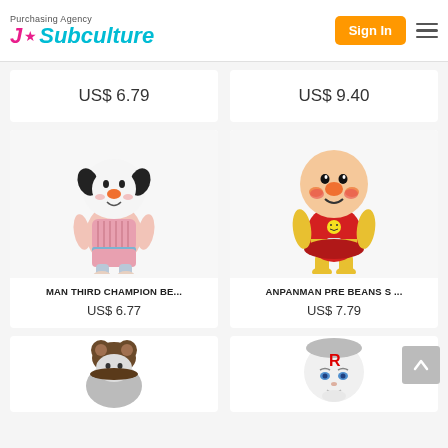Purchasing Agency J★Subculture | Sign In
US$ 6.79
US$ 9.40
[Figure (photo): Plush toy of a character in pink outfit with round white head and orange nose]
MAN THIRD CHAMPION BE...
US$ 6.77
[Figure (photo): Anpanman plush toy in red outfit with yellow boots and smiley badge]
ANPANMAN PRE BEANS S ...
US$ 7.79
[Figure (photo): Bear-like character plush with brown hat ears, grey body]
[Figure (photo): Round character plush with white head, blue eyes, R marking]